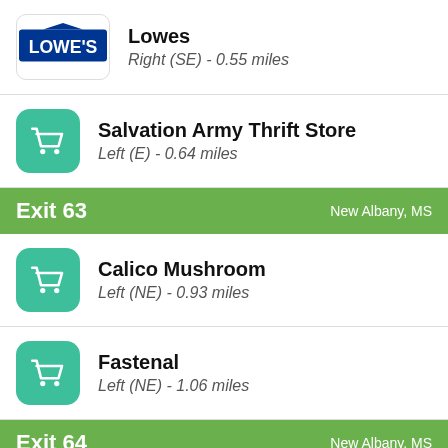Lowes
Right (SE) - 0.55 miles
Salvation Army Thrift Store
Left (E) - 0.64 miles
Exit 63   New Albany, MS
Calico Mushroom
Left (NE) - 0.93 miles
Fastenal
Left (NE) - 1.06 miles
Exit 64   New Albany, MS